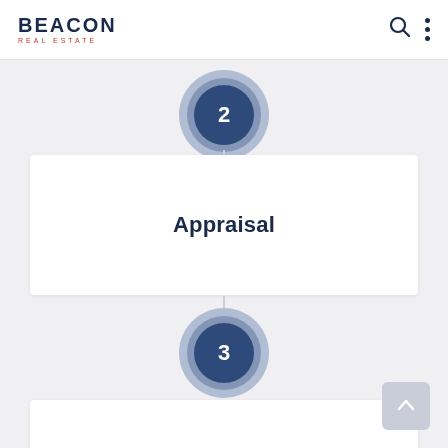BEACON REAL ESTATE
[Figure (infographic): Step 2 circle badge with number 2 in dark navy blue, surrounded by concentric lighter blue rings]
Appraisal
[Figure (infographic): Step 3 circle badge with number 3 in dark navy blue, surrounded by concentric lighter blue rings]